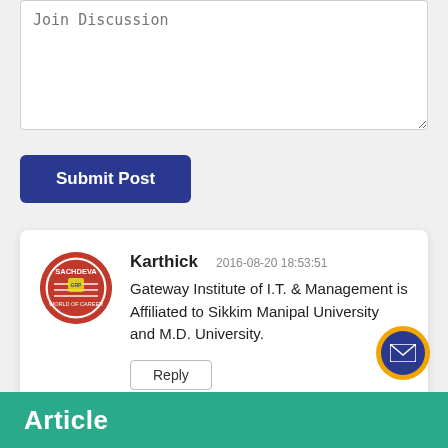Join Discussion
Submit Post
Karthick   2016-08-20 18:53:51
Gateway Institute of I.T. & Management is Affiliated to Sikkim Manipal University and M.D. University.
Reply
[Figure (logo): Sachdeva college/institution circular logo in red with white text]
[Figure (other): Email/envelope icon button with orange ring and dark blue circular background]
Article